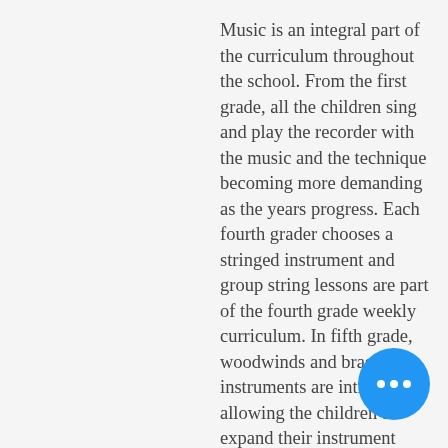Music is an integral part of the curriculum throughout the school. From the first grade, all the children sing and play the recorder with the music and the technique becoming more demanding as the years progress. Each fourth grader chooses a stringed instrument and group string lessons are part of the fourth grade weekly curriculum. In fifth grade, woodwinds and brass instruments are introduced allowing the children to expand their instrument range. In grade six, the students join the Middle School Orchestra with their instrument of choice. In the middle grades, string ensembles, recorder groups, and choirs are formed. Elements of musical theory are woven into the musical curriculum each year. Singing in a choral group and playing in the